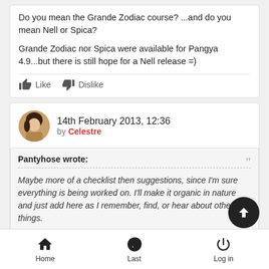Do you mean the Grande Zodiac course? ...and do you mean Nell or Spica?
Grande Zodiac nor Spica were available for Pangya 4.9...but there is still hope for a Nell release =)
Like  Dislike
14th February 2013, 12:36
by Celestre
Pantyhose wrote:
Maybe more of a checklist then suggestions, since I'm sure everything is being worked on. I'll make it organic in nature and just add here as I remember, find, or hear about other things.
Home  Last  Log in